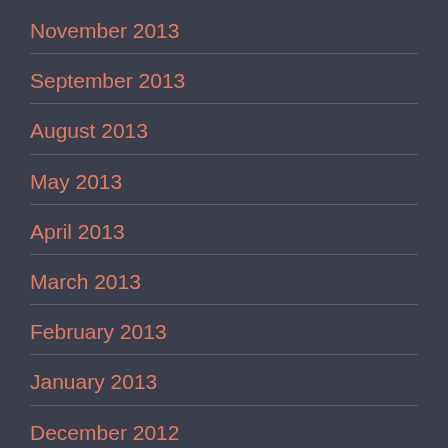November 2013
September 2013
August 2013
May 2013
April 2013
March 2013
February 2013
January 2013
December 2012
November 2012
October 2012